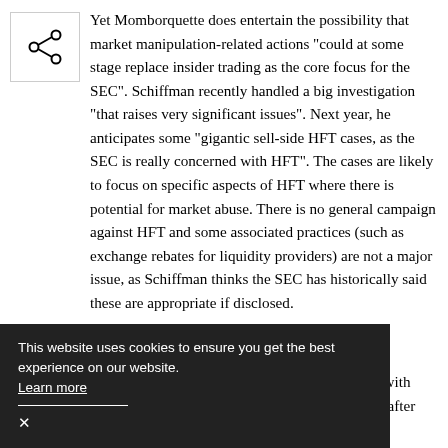[Figure (other): Share icon button — a small box with a network share symbol (circles connected by lines)]
Yet Momborquette does entertain the possibility that market manipulation-related actions "could at some stage replace insider trading as the core focus for the SEC". Schiffman recently handled a big investigation "that raises very significant issues". Next year, he anticipates some "gigantic sell-side HFT cases, as the SEC is really concerned with HFT". The cases are likely to focus on specific aspects of HFT where there is potential for market abuse. There is no general campaign against HFT and some associated practices (such as exchange rebates for liquidity providers) are not a major issue, as Schiffman thinks the SEC has historically said these are appropriate if disclosed.
...is very active orders with that are cancelled later on". Indeed, a few weeks after
This website uses cookies to ensure you get the best experience on our website. Learn more